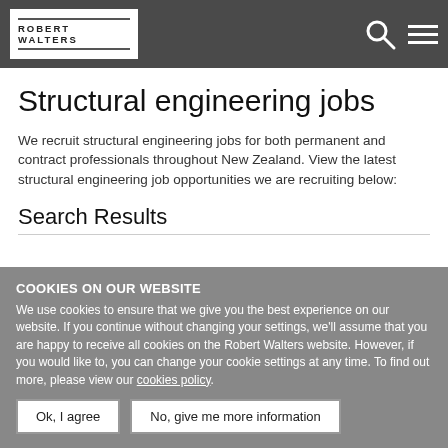ROBERT WALTERS
Structural engineering jobs
We recruit structural engineering jobs for both permanent and contract professionals throughout New Zealand. View the latest structural engineering job opportunities we are recruiting below:
Search Results
COOKIES ON OUR WEBSITE
We use cookies to ensure that we give you the best experience on our website. If you continue without changing your settings, we'll assume that you are happy to receive all cookies on the Robert Walters website. However, if you would like to, you can change your cookie settings at any time. To find out more, please view our cookies policy.
Ok, I agree | No, give me more information